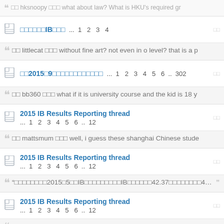hksnoopy what about law? What is HKU's required gr
IB ... 1 2 3 4
littlecat without fine art? not even in o level? that is a p
2015 9 ... 1 2 3 4 5 6 .. 302
bb360 what if it is university course and the kid is 18 y
2015 IB Results Reporting thread ... 1 2 3 4 5 6 .. 12
mattsmum well, i guess these shanghai Chinese stude
2015 IB Results Reporting thread ... 1 2 3 4 5 6 .. 12
"2015 5 IB IB 42.37 45 ..."
2015 IB Results Reporting thread ... 1 2 3 4 5 6 .. 12
from wechat I can see that shanghai result is just "horrible",